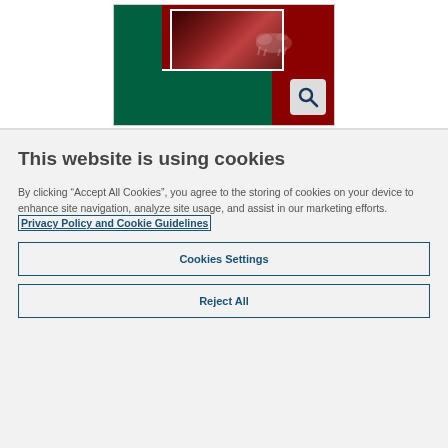[Figure (screenshot): Screenshot of a website with dark green and red color scheme, showing an animal image, a search icon, and navigation panels.]
This website is using cookies
By clicking “Accept All Cookies”, you agree to the storing of cookies on your device to enhance site navigation, analyze site usage, and assist in our marketing efforts. Privacy Policy and Cookie Guidelines
Cookies Settings
Reject All